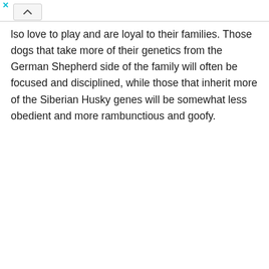…also love to play and are loyal to their families. Those dogs that take more of their genetics from the German Shepherd side of the family will often be focused and disciplined, while those that inherit more of the Siberian Husky genes will be somewhat less obedient and more rambunctious and goofy.